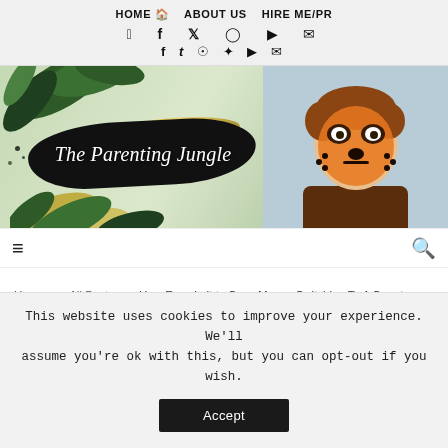HOME  ABOUT US  HIRE ME/PR
[Figure (screenshot): Website banner for 'The Parenting Jungle' blog showing logo with black brush stroke and gold accents on a green leafy background, alongside a photo of a boy with tiger face paint]
≡  [hamburger menu]  [search icon]
Home > All Posts > How Easy Is It to Save Money Switching To A Smart Home With Hive? #switchingtosmart
This website uses cookies to improve your experience. We'll assume you're ok with this, but you can opt-out if you wish. Accept